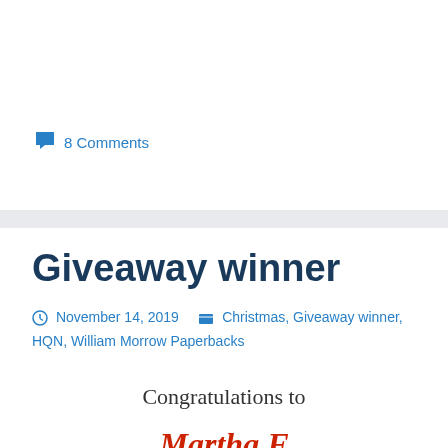💬 8 Comments
Giveaway winner
November 14, 2019   Christmas, Giveaway winner, HQN, William Morrow Paperbacks
Congratulations to
Martha F